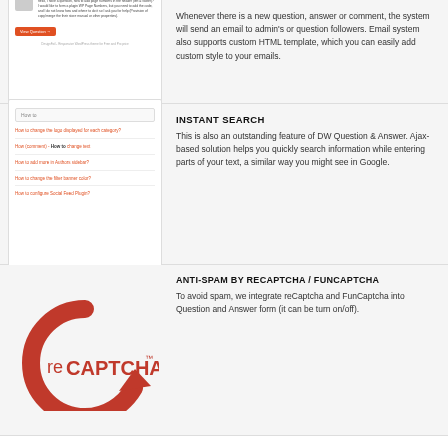[Figure (screenshot): Screenshot of a DesignFoil email notification showing a new question posted, with avatar, question text link, body text, and a View Question button]
Whenever there is a new question, answer or comment, the system will send an email to admin's or question followers. Email system also supports custom HTML template, which you can easily add custom style to your emails.
[Figure (screenshot): Screenshot of instant search feature showing a search box with 'How to' typed and several search result entries listed below]
INSTANT SEARCH
This is also an outstanding feature of DW Question & Answer. Ajax-based solution helps you quickly search information while entering parts of your text, a similar way you might see in Google.
[Figure (logo): reCAPTCHA logo — red circular arrow with 'reCAPTCHA' text]
ANTI-SPAM BY RECAPTCHA / FUNCAPTCHA
To avoid spam, we integrate reCaptcha and FunCaptcha into Question and Answer form (it can be turn on/off).
For the purpose of your further understanding, FAQs are a list of frequently asked questions and answers on a particular topic. And that's why they're also known as